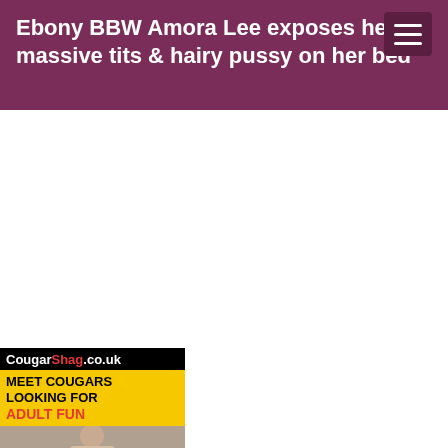Ebony BBW Amora Lee exposes her massive tits & hairy pussy on her bed
[Figure (photo): Advertisement banner for CougarShag.co.uk with text 'MEET COUGARS LOOKING FOR ADULT FUN' and a photo of a woman]